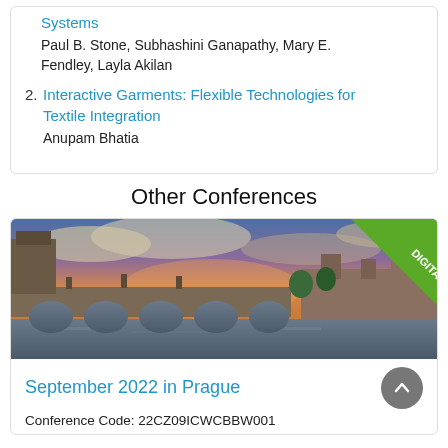Systems
Paul B. Stone, Subhashini Ganapathy, Mary E. Fendley, Layla Akilan
2. Interactive Garments: Flexible Technologies for Textile Integration
Anupam Bhatia
Other Conferences
[Figure (photo): Photograph of Charles Bridge in Prague at sunset with dramatic sky. A green diagonal 'DIGITAL' badge is shown in the top-right corner.]
September 2022 in Prague
Conference Code: 22CZ09ICWCBBW001